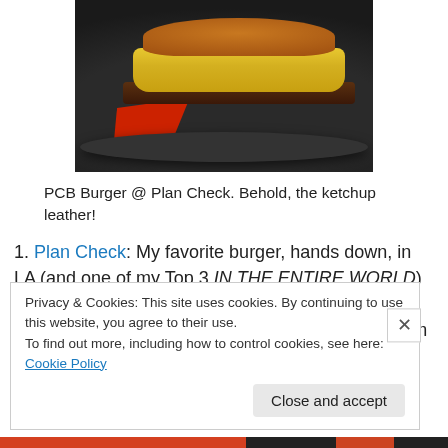[Figure (photo): A burger served in a black cast iron skillet, showing melted yellow cheese on top of a patty with a red ketchup leather piece visible on the side.]
PCB Burger @ Plan Check. Behold, the ketchup leather!
1. Plan Check: My favorite burger, hands down, in LA (and one of my Top 3 IN THE ENTIRE WORLD) is the PCB Burger at Plan Check. Chef Ernesto Uchimura has turned burger making into an art form from his perfectly prepared
Privacy & Cookies: This site uses cookies. By continuing to use this website, you agree to their use.
To find out more, including how to control cookies, see here: Cookie Policy
Close and accept